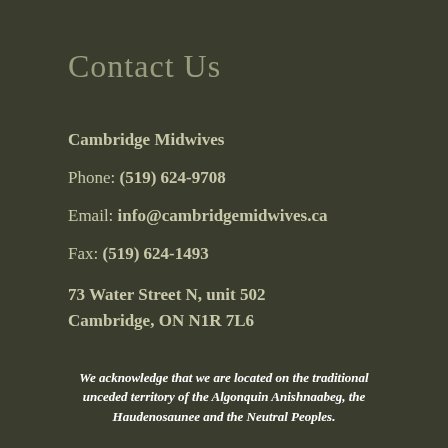Contact Us
Cambridge Midwives
Phone: (519) 624-9708
Email: info@cambridgemidwives.ca
Fax: (519) 624-1493
73 Water Street N, unit 502
Cambridge, ON N1R 7L6
We acknowledge that we are located on the traditional unceded territory of the Algonquin Anishnaabeg, the Haudenosaunee and the Neutral Peoples.